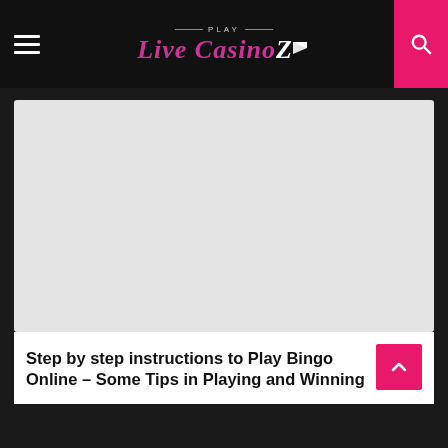PLAY Live CasinoZ
[Figure (photo): Large light gray image placeholder rectangle]
Step by step instructions to Play Bingo Online – Some Tips in Playing and Winning